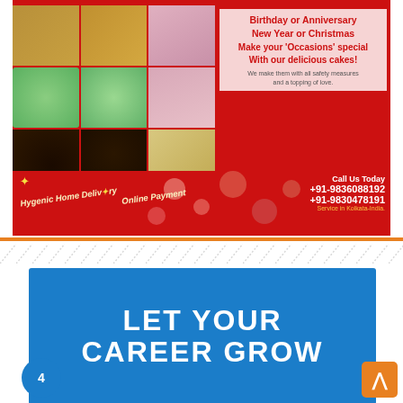[Figure (photo): Advertisement banner for a cake shop with photos of cakes on the left (fruit cakes in trays, round decorated cake, pink dress, chocolate cake, yellow cake slices) and text on the right about making occasions special with cakes. Red background with delivery info at bottom.]
Birthday or Anniversary
New Year or Christmas
Make your 'Occasions' special
With our delicious cakes!
We make them with all safety measures and a topping of love.
*Hygenic Home Delivery
Online Payment
Call Us Today
+91-9836088192
+91-9830478191
Service in Kolkata-India.
[Figure (photo): Blue advertisement banner with white bold text reading LET YOUR CAREER GROW]
LET YOUR
CAREER GROW